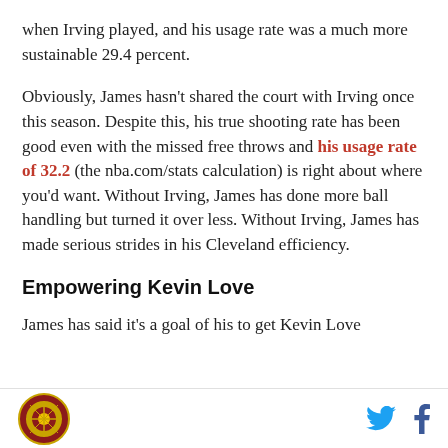when Irving played, and his usage rate was a much more sustainable 29.4 percent.
Obviously, James hasn't shared the court with Irving once this season. Despite this, his true shooting rate has been good even with the missed free throws and his usage rate of 32.2 (the nba.com/stats calculation) is right about where you'd want. Without Irving, James has done more ball handling but turned it over less. Without Irving, James has made serious strides in his Cleveland efficiency.
Empowering Kevin Love
James has said it's a goal of his to get Kevin Love
Logo | Twitter | Facebook